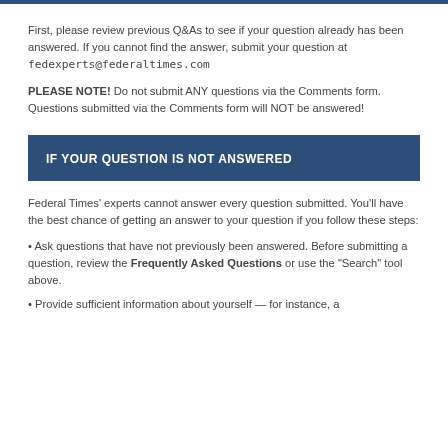First, please review previous Q&As to see if your question already has been answered. If you cannot find the answer, submit your question at fedexperts@federaltimes.com
PLEASE NOTE! Do not submit ANY questions via the Comments form. Questions submitted via the Comments form will NOT be answered!
IF YOUR QUESTION IS NOT ANSWERED
Federal Times’ experts cannot answer every question submitted. You’ll have the best chance of getting an answer to your question if you follow these steps:
• Ask questions that have not previously been answered. Before submitting a question, review the Frequently Asked Questions or use the "Search" tool above.
• Provide sufficient information about yourself — for instance, a